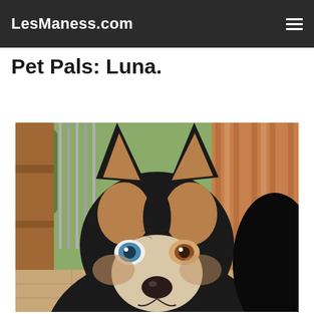LesManess.com
Pet Pals: Luna.
[Figure (photo): Close-up photo of a husky/shepherd mix dog named Luna with heterochromia (one blue eye, one brown eye), black and tan fur, pointed ears, white muzzle, looking directly at camera. Background shows a wooden deck railing, trees, and patio.]